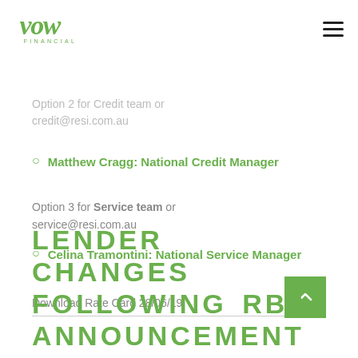Vow Financial
Jason Hulbers: VIC BDM on 0468 755 419
Option 2 for Credit team or credit@resi.com.au
Matthew Cragg: National Credit Manager
Option 3 for Service team or service@resi.com.au
Celina Tramontini: National Service Manager
Download Rate Card 28/06/19
LENDER CHANGES FOLLOWING RBA ANNOUNCEMENT